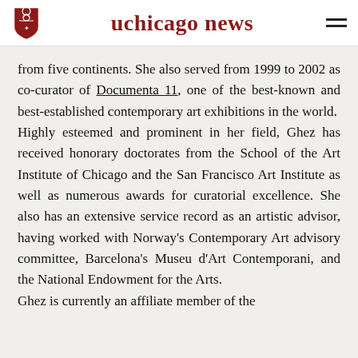uchicago news
from five continents. She also served from 1999 to 2002 as co-curator of Documenta 11, one of the best-known and best-established contemporary art exhibitions in the world.
Highly esteemed and prominent in her field, Ghez has received honorary doctorates from the School of the Art Institute of Chicago and the San Francisco Art Institute as well as numerous awards for curatorial excellence. She also has an extensive service record as an artistic advisor, having worked with Norway's Contemporary Art advisory committee, Barcelona's Museu d'Art Contemporani, and the National Endowment for the Arts.
Ghez is currently an affiliate member of the